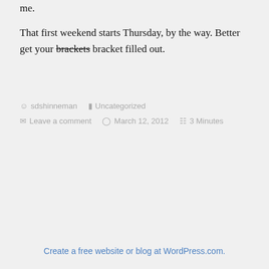inspire you, financially. Especially if those people are me.

That first weekend starts Thursday, by the way. Better get your brackets bracket filled out.
sdshinneman  Uncategorized
Leave a comment  March 12, 2012  3 Minutes
Create a free website or blog at WordPress.com.